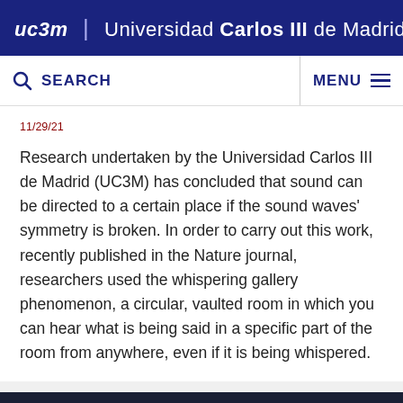uc3m | Universidad Carlos III de Madrid
SEARCH   MENU
11/29/21
Research undertaken by the Universidad Carlos III de Madrid (UC3M) has concluded that sound can be directed to a certain place if the sound waves' symmetry is broken. In order to carry out this work, recently published in the Nature journal, researchers used the whispering gallery phenomenon, a circular, vaulted room in which you can hear what is being said in a specific part of the room from anywhere, even if it is being whispered.